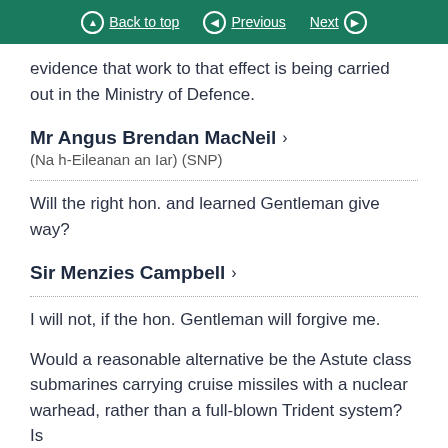Back to top | Previous | Next
evidence that work to that effect is being carried out in the Ministry of Defence.
Mr Angus Brendan MacNeil
(Na h-Eileanan an Iar) (SNP)
Will the right hon. and learned Gentleman give way?
Sir Menzies Campbell
I will not, if the hon. Gentleman will forgive me.
Would a reasonable alternative be the Astute class submarines carrying cruise missiles with a nuclear warhead, rather than a full-blown Trident system? Is